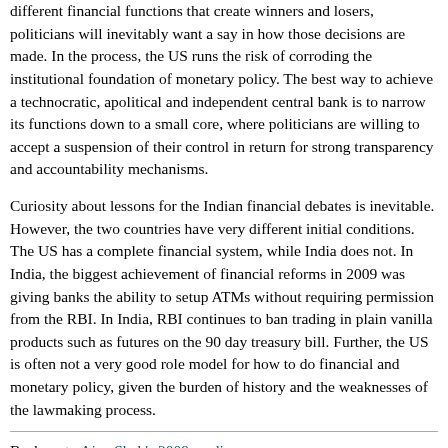different financial functions that create winners and losers, politicians will inevitably want a say in how those decisions are made. In the process, the US runs the risk of corroding the institutional foundation of monetary policy. The best way to achieve a technocratic, apolitical and independent central bank is to narrow its functions down to a small core, where politicians are willing to accept a suspension of their control in return for strong transparency and accountability mechanisms.
Curiosity about lessons for the Indian financial debates is inevitable. However, the two countries have very different initial conditions. The US has a complete financial system, while India does not. In India, the biggest achievement of financial reforms in 2009 was giving banks the ability to setup ATMs without requiring permission from the RBI. In India, RBI continues to ban trading in plain vanilla products such as futures on the 90 day treasury bill. Further, the US is often not a very good role model for how to do financial and monetary policy, given the burden of history and the weaknesses of the lawmaking process.
Back up to Ajay Shah's 2009 media page